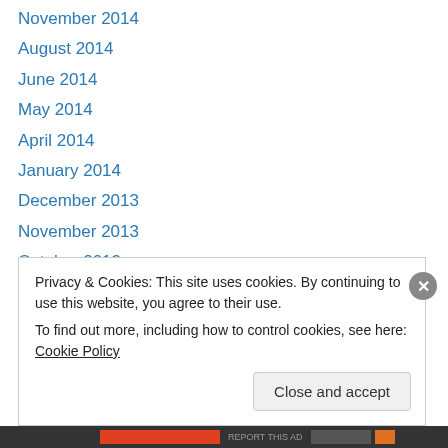November 2014
August 2014
June 2014
May 2014
April 2014
January 2014
December 2013
November 2013
October 2013
August 2013
July 2013
May 2013
April 2013
Privacy & Cookies: This site uses cookies. By continuing to use this website, you agree to their use. To find out more, including how to control cookies, see here: Cookie Policy
Close and accept